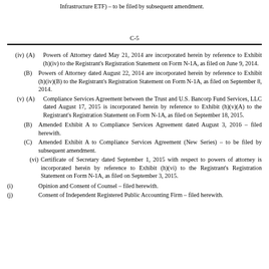Infrastructure ETF) – to be filed by subsequent amendment.
C-5
(iv) (A) Powers of Attorney dated May 21, 2014 are incorporated herein by reference to Exhibit (h)(iv) to the Registrant's Registration Statement on Form N-1A, as filed on June 9, 2014.
(B) Powers of Attorney dated August 22, 2014 are incorporated herein by reference to Exhibit (h)(iv)(B) to the Registrant's Registration Statement on Form N-1A, as filed on September 8, 2014.
(v) (A) Compliance Services Agreement between the Trust and U.S. Bancorp Fund Services, LLC dated August 17, 2015 is incorporated herein by reference to Exhibit (h)(v)(A) to the Registrant's Registration Statement on Form N-1A, as filed on September 18, 2015.
(B) Amended Exhibit A to Compliance Services Agreement dated August 3, 2016 – filed herewith.
(C) Amended Exhibit A to Compliance Services Agreement (New Series) – to be filed by subsequent amendment.
(vi) Certificate of Secretary dated September 1, 2015 with respect to powers of attorney is incorporated herein by reference to Exhibit (h)(vi) to the Registrant's Registration Statement on Form N-1A, as filed on September 3, 2015.
(i) Opinion and Consent of Counsel – filed herewith.
(j) Consent of Independent Registered Public Accounting Firm – filed herewith.